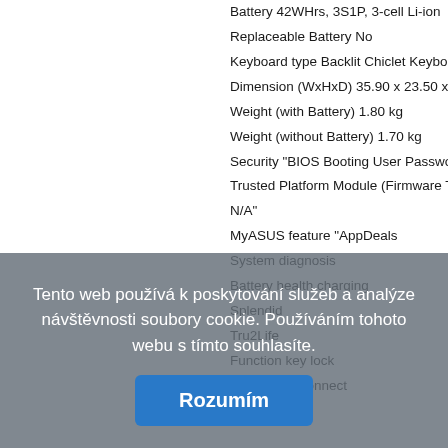Battery 42WHrs, 3S1P, 3-cell Li-ion
Replaceable Battery No
Keyboard type Backlit Chiclet Keyboard w...
Dimension (WxHxD) 35.90 x 23.50 x 1.79...
Weight (with Battery) 1.80 kg
Weight (without Battery) 1.70 kg
Security "BIOS Booting User Password Pr...
Trusted Platform Module (Firmware TPM) ...
N/A"
MyASUS feature "AppDeals
System diagnosis
Battery health charging
Splendid
Tru2Life
Function key lock
WiFi SmartConnect
Link to MyASUS
Built-in Apps MyASUS
Included in the Box N/A
Repairability Index (for France) 6/5
... 24 měsíc(ů)
Tento web používá k poskytování služeb a analýze návštěvnosti soubory cookie. Používáním tohoto webu s tímto souhlasíte. Rozumím